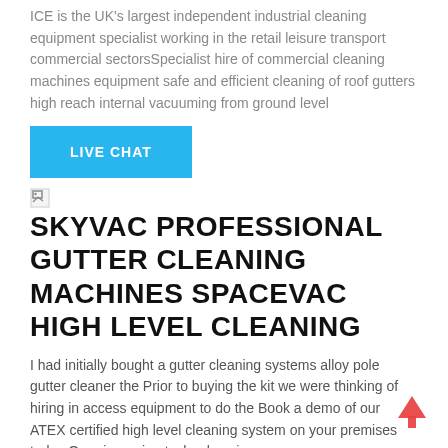ICE is the UK's largest independent industrial cleaning equipment specialist working in the retail leisure transport commercial sectorsSpecialist hire of commercial cleaning machines equipment safe and efficient cleaning of roof gutters high reach internal vacuuming from ground level
LIVE CHAT
[Figure (other): Broken image placeholder (small broken image icon)]
SKYVAC PROFESSIONAL GUTTER CLEANING MACHINES SPACEVAC HIGH LEVEL CLEANING
I had initially bought a gutter cleaning systems alloy pole gutter cleaner the Prior to buying the kit we were thinking of hiring in access equipment to do the Book a demo of our ATEX certified high level cleaning system on your premises today Our pioneering technology is